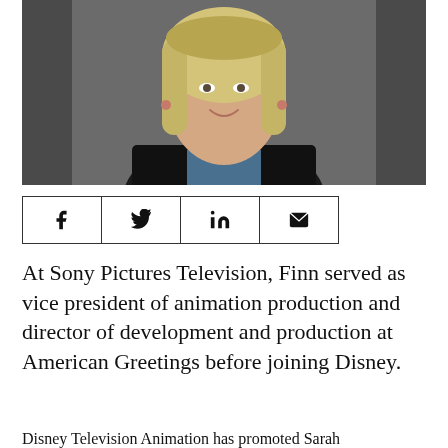[Figure (photo): Headshot of a blonde woman smiling, wearing a black blazer and blue patterned top with a necklace, against a grey background.]
[Figure (other): Social sharing bar with four icon buttons: Facebook, Twitter, LinkedIn, and Email/envelope.]
At Sony Pictures Television, Finn served as vice president of animation production and director of development and production at American Greetings before joining Disney.
Disney Television Animation has promoted Sarah